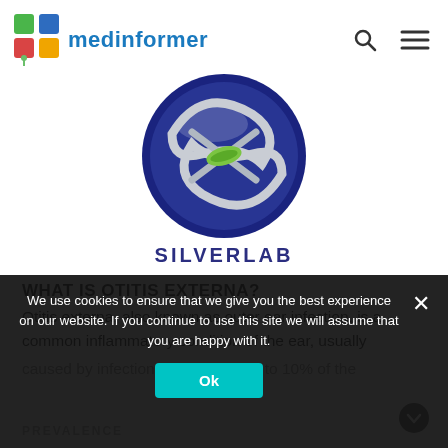medinformer
[Figure (logo): Silverlab circular logo with blue background, silver swoosh, and green leaf element. Text below reads SILVERLAB in dark blue bold letters.]
WHAT IS OTITIS EXTERNA?
Otitis externa, also known as outer ear infection, is a common inflammatory condition of the ear, usually caused by infection, and affects up to 10% of the
We use cookies to ensure that we give you the best experience on our website. If you continue to use this site we will assume that you are happy with it.
PREVALENCE